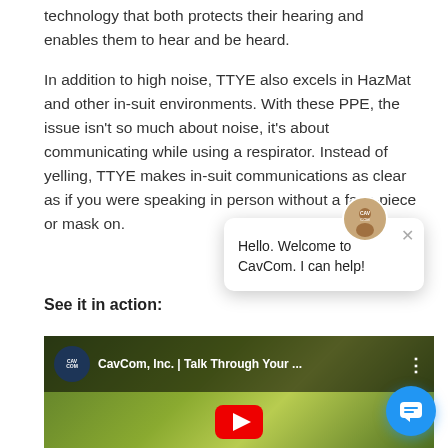technology that both protects their hearing and enables them to hear and be heard.
In addition to high noise, TTYE also excels in HazMat and other in-suit environments. With these PPE, the issue isn't so much about noise, it's about communicating while using a respirator. Instead of yelling, TTYE makes in-suit communications as clear as if you were speaking in person without a face-piece or mask on.
See it in action:
[Figure (screenshot): YouTube video thumbnail showing CavCom, Inc. | Talk Through Your ... with two people in yellow hazmat suits]
[Figure (screenshot): Chat popup overlay with CavCom avatar and message: Hello. Welcome to CavCom. I can help!]